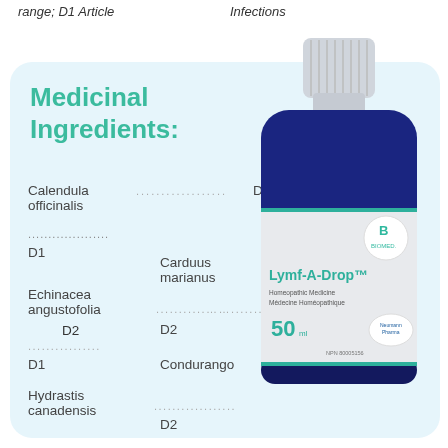range; D1 Article
Infections
Medicinal Ingredients:
Calendula officinalis ................ D2
D1  Carduus marianus
Echinacea angustofolia ............. D2
D1  Condurango
Hydrastis canadensis ............... D2
[Figure (photo): A dark blue glass dropper bottle with white ribbed cap and a light grey label. The label shows the Biomed logo (green leaf B icon), the product name 'Lymf-A-Drop' in teal, subtitle 'Homeopathic Medicine / Médecine Homéopathique', volume '50 ml', and NPN 80005156 with Neumann Pharma logo.]